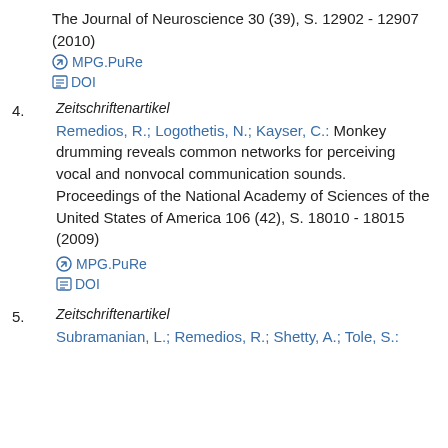The Journal of Neuroscience 30 (39), S. 12902 - 12907 (2010)
MPG.PuRe
DOI
4.
Zeitschriftenartikel
Remedios, R.; Logothetis, N.; Kayser, C.: Monkey drumming reveals common networks for perceiving vocal and nonvocal communication sounds. Proceedings of the National Academy of Sciences of the United States of America 106 (42), S. 18010 - 18015 (2009)
MPG.PuRe
DOI
5.
Zeitschriftenartikel
Subramanian, L.; Remedios, R.; Shetty, A.; Tole, S.: